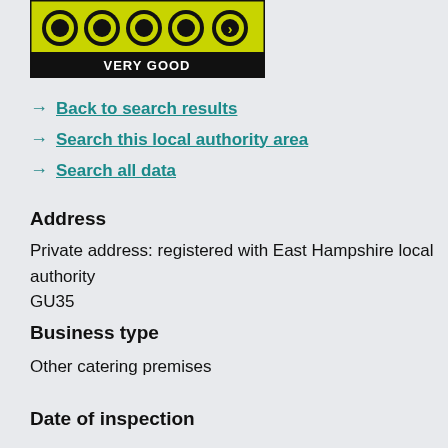[Figure (other): Food hygiene rating badge showing 'VERY GOOD' with star/circle icons on yellow-green background]
Back to search results
Search this local authority area
Search all data
Address
Private address: registered with East Hampshire local authority
GU35
Business type
Other catering premises
Date of inspection